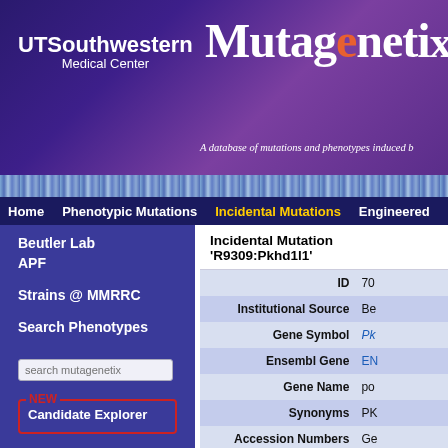[Figure (screenshot): UT Southwestern Medical Center logo in white text on purple background]
[Figure (logo): Mutagenetix logo with DNA helix graphic on purple gradient background]
A database of mutations and phenotypes induced b
[Figure (illustration): DNA double helix decorative strip]
Home  Phenotypic Mutations  Incidental Mutations  Engineered
Beutler Lab
APF
Strains @ MMRRC
Search Phenotypes
Candidate Explorer
Staff Login
Download
Incidental Mutation 'R9309:Pkhd1l1'
| Field | Value |
| --- | --- |
| ID | 70 |
| Institutional Source | Be |
| Gene Symbol | Pk |
| Ensembl Gene | EN |
| Gene Name | po |
| Synonyms | PK |
| Accession Numbers | Ge |
| Is this an essential gene? | No |
| Stock # | R9 |
| Quality Score | 22 |